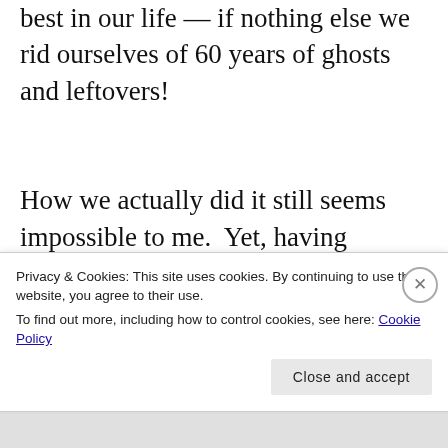best in our life — if nothing else we rid ourselves of 60 years of ghosts and leftovers!

How we actually did it still seems impossible to me.  Yet, having downsized, I feel as if the downsizing mentality is stuck in my blood. I don't want to stop.  Even when I think about the eventuality of coming off the road as RV'ers and returning to some
Privacy & Cookies: This site uses cookies. By continuing to use this website, you agree to their use.
To find out more, including how to control cookies, see here: Cookie Policy
Close and accept